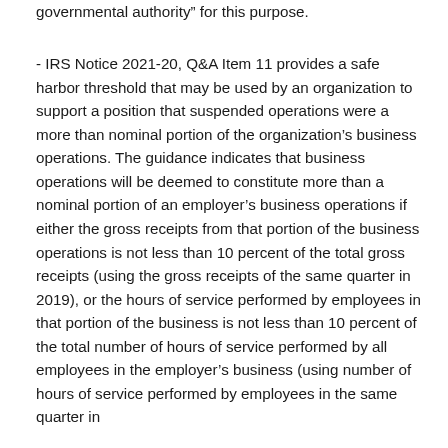governmental authority" for this purpose.
- IRS Notice 2021-20, Q&A Item 11 provides a safe harbor threshold that may be used by an organization to support a position that suspended operations were a more than nominal portion of the organization's business operations. The guidance indicates that business operations will be deemed to constitute more than a nominal portion of an employer's business operations if either the gross receipts from that portion of the business operations is not less than 10 percent of the total gross receipts (using the gross receipts of the same quarter in 2019), or the hours of service performed by employees in that portion of the business is not less than 10 percent of the total number of hours of service performed by all employees in the employer's business (using number of hours of service performed by employees in the same quarter in